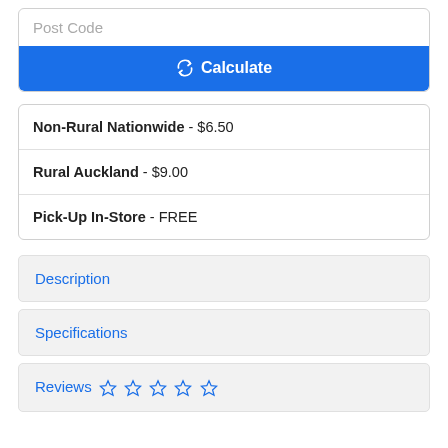Post Code
Calculate
Non-Rural Nationwide - $6.50
Rural Auckland - $9.00
Pick-Up In-Store - FREE
Description
Specifications
Reviews ☆ ☆ ☆ ☆ ☆